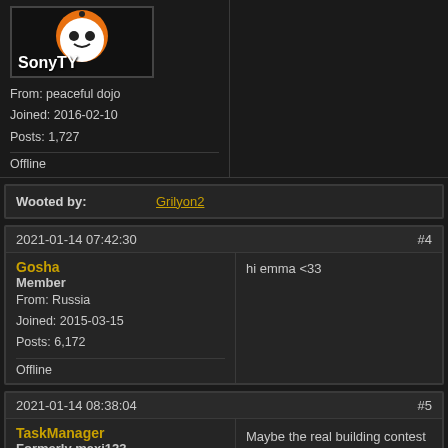[Figure (illustration): SonyTY avatar with cartoon face and username label]
From: peaceful dojo
Joined: 2016-02-10
Posts: 1,727
Offline
Wooted by: Grilyon2
2021-01-14 07:42:30
#4
Gosha
Member
From: Russia
Joined: 2015-03-15
Posts: 6,172
Offline
hi emma <33
2021-01-14 08:38:04
#5
TaskManager
Formerly maxi123
[Figure (illustration): TaskManager avatar with robot face and TASK MGR text]
Maybe the real building contest was the friendships we built along the way